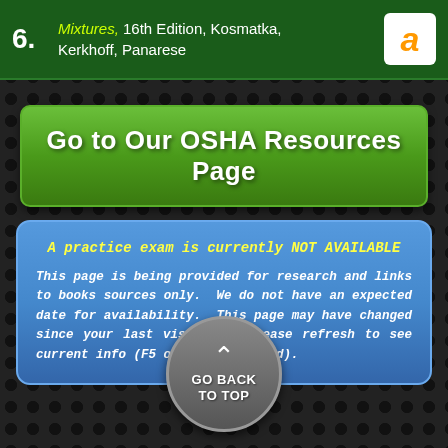6. Mixtures, 16th Edition, Kosmatka, Kerkhoff, Panarese
Go to Our OSHA Resources Page
A practice exam is currently NOT AVAILABLE

This page is being provided for research and links to books sources only. We do not have an expected date for availability. This page may have changed since your last visit. Please refresh to see current info (F5 on your keyboard).
GO BACK TO TOP